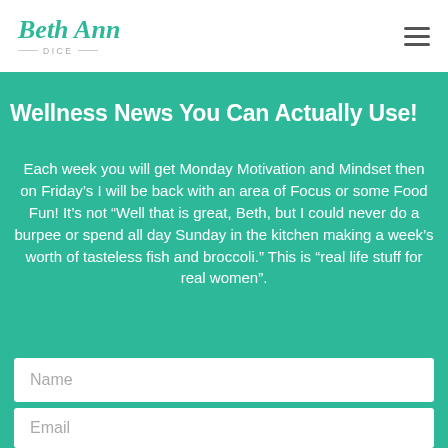Beth Ann Dice
Wellness News You Can Actually Use!
Each week you will get Monday Motivation and Mindset then on Friday’s I will be back with an area of Focus or some Food Fun! It’s not “Well that is great, Beth, but I could never do a burpee or spend all day Sunday in the kitchen making a week’s worth of tasteless fish and broccoli.” This is “real life stuff for real women”.
Name
Email